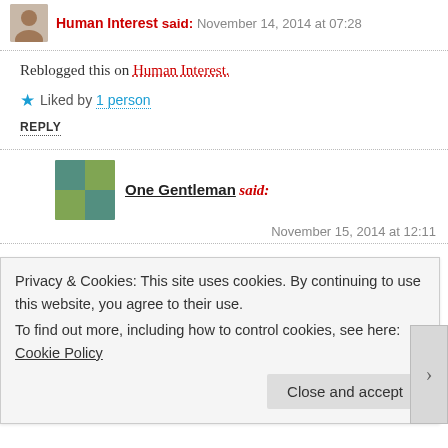Human Interest said: November 14, 2014 at 07:28
Reblogged this on Human Interest.
Liked by 1 person
REPLY
One Gentleman said: November 15, 2014 at 12:11
Thank you for taking the time to read this post. I am grateful for you doing so, and also the gesture of reblogging. Thanks
Liked by 1 person
Privacy & Cookies: This site uses cookies. By continuing to use this website, you agree to their use.
To find out more, including how to control cookies, see here: Cookie Policy
Close and accept